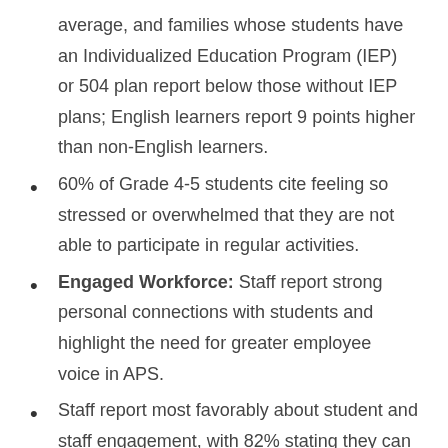average, and families whose students have an Individualized Education Program (IEP) or 504 plan report below those without IEP plans; English learners report 9 points higher than non-English learners.
60% of Grade 4-5 students cite feeling so stressed or overwhelmed that they are not able to participate in regular activities.
Engaged Workforce: Staff report strong personal connections with students and highlight the need for greater employee voice in APS.
Staff report most favorably about student and staff engagement, with 82% stating they can make a personal connection with all of their